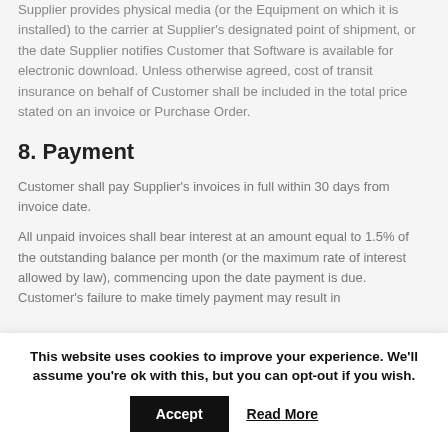Supplier provides physical media (or the Equipment on which it is installed) to the carrier at Supplier's designated point of shipment, or the date Supplier notifies Customer that Software is available for electronic download. Unless otherwise agreed, cost of transit insurance on behalf of Customer shall be included in the total price stated on an invoice or Purchase Order.
8. Payment
Customer shall pay Supplier's invoices in full within 30 days from invoice date.
All unpaid invoices shall bear interest at an amount equal to 1.5% of the outstanding balance per month (or the maximum rate of interest allowed by law), commencing upon the date payment is due. Customer's failure to make timely payment may result in
This website uses cookies to improve your experience. We'll assume you're ok with this, but you can opt-out if you wish.